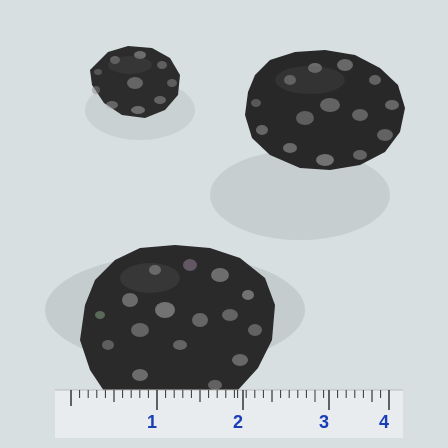[Figure (photo): Photograph of three dark meteorite fragments (chondrite-type, with visible white chondrules/inclusions) on a light gray background, with a centimeter ruler at the bottom showing measurements from approximately 0 to 4+ cm. The three rock fragments vary in size; the largest is at bottom-left, a medium fragment at upper-right, and the smallest at upper-left.]